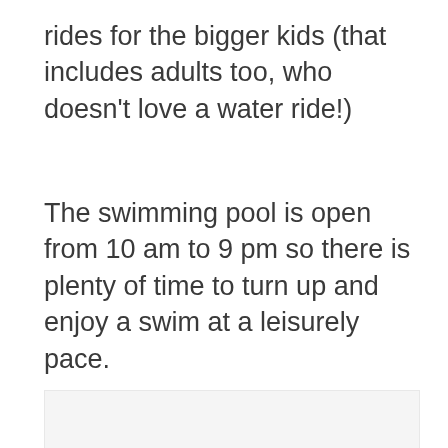rides for the bigger kids (that includes adults too, who doesn't love a water ride!)
The swimming pool is open from 10 am to 9 pm so there is plenty of time to turn up and enjoy a swim at a leisurely pace.
[Figure (other): Light gray image placeholder box with three small dots centered near the bottom, indicating an image loading or ad placeholder]